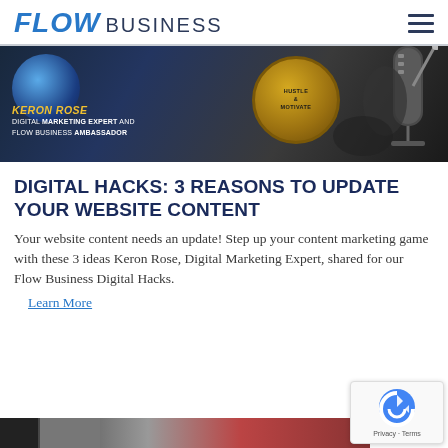FLOW BUSINESS
[Figure (photo): Photo of Keron Rose, Digital Marketing Expert and Flow Business Ambassador, with a podcast microphone and Hustle & Motivate badge/logo visible in the background.]
DIGITAL HACKS: 3 REASONS TO UPDATE YOUR WEBSITE CONTENT
Your website content needs an update! Step up your content marketing game with these 3 ideas Keron Rose, Digital Marketing Expert, shared for our Flow Business Digital Hacks.
Learn More
[Figure (photo): Partial image strip at the bottom of the page showing a second article thumbnail (partially visible).]